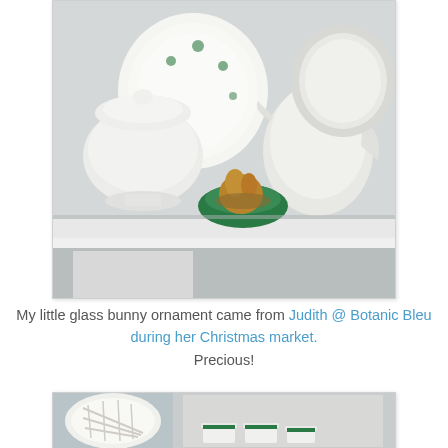[Figure (photo): A white hutch shelf displaying white ceramic dishware including a lidded tureen and a creamer/pitcher, a green bowl containing a glass bunny ornament with a nest, and decorative plates in the background.]
My little glass bunny ornament came from Judith @ Botanic Bleu during her Christmas market. Precious!
[Figure (photo): Lower portion of a white hutch showing a lattice ceramic trivet on the left side and green-rimmed cups visible through a framed inner cabinet area.]